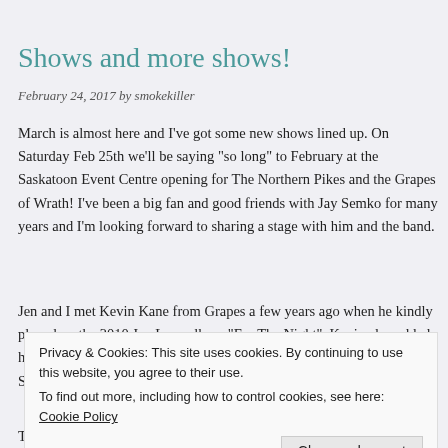Shows and more shows!
February 24, 2017 by smokekiller
March is almost here and I’ve got some new shows lined up. On Saturday Feb 25th we’ll be saying “so long” to February at the Saskatoon Event Centre opening for The Northern Pikes and the Grapes of Wrath! I’ve been a big fan and good friends with Jay Semko for many years and I’m looking forward to sharing a stage with him and the band.
Jen and I met Kevin Kane from Grapes a few years ago when he kindly played on the 2010 Jen Lane album “For The Night”. Kevin also added his guitar talents to my 2012 album “Always With You” and  came to Saskatoon t b r
Privacy & Cookies: This site uses cookies. By continuing to use this website, you agree to their use. To find out more, including how to control cookies, see here: Cookie Policy
Close and accept
Thursday March 9th I’ll be at the Fat Badger slinging the hits and then some